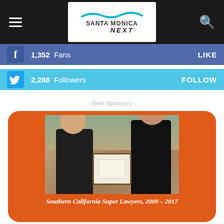Santa Monica Next
1,352 Fans LIKE
2,288 Followers FOLLOW
- Next Sponsors -
[Figure (photo): Two men holding an award/certificate framed photo, standing in front of a painted wall backdrop. Orange rounded rectangle background with caption 'Southern California Super Lawyers, 2009 – 2017'.]
Southern California Super Lawyers, 2009 – 2017